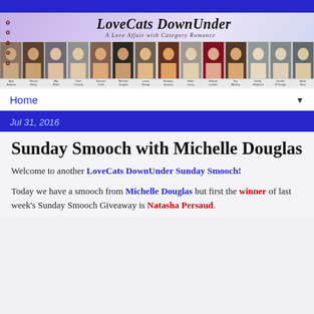[Figure (illustration): LoveCats DownUnder blog banner with purple/lavender gradient background, paw print marks on left, italic serif title 'LoveCats DownUnder' and subtitle 'A Love Affair with Category Romance', followed by a row of author headshot photos with names below: Amy Andreas, Rachel Bailey, Ally Blake, Clare Connely, Shannon Curtis, Michelle Douglas, Louisa George, Bronwyn Jameson, Helen Lacey, Stefanie London, Sue MacKay, Kandy Shepherd, Jennifer St George, Annie West]
Home ▼
Jul 31, 2016
Sunday Smooch with Michelle Douglas
Welcome to another LoveCats DownUnder Sunday Smooch!
Today we have a smooch from Michelle Douglas but first the winner of last week's Sunday Smooch Giveaway is Natasha Persaud.